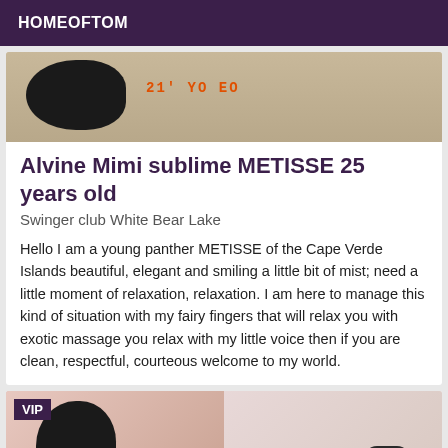HOMEOFTOM
[Figure (photo): Top portion of a photo showing a dark-haired figure against a beige/tan background with orange text overlay reading '21' YO EO']
Alvine Mimi sublime METISSE 25 years old
Swinger club White Bear Lake
Hello I am a young panther METISSE of the Cape Verde Islands beautiful, elegant and smiling a little bit of mist; need a little moment of relaxation, relaxation. I am here to manage this kind of situation with my fairy fingers that will relax you with exotic massage you relax with my little voice then if you are clean, respectful, courteous welcome to my world.
[Figure (photo): Two photos side by side. Left photo shows a dark-haired person against a pink background with VIP badge in top-left corner. Right photo shows a blurred/light image.]